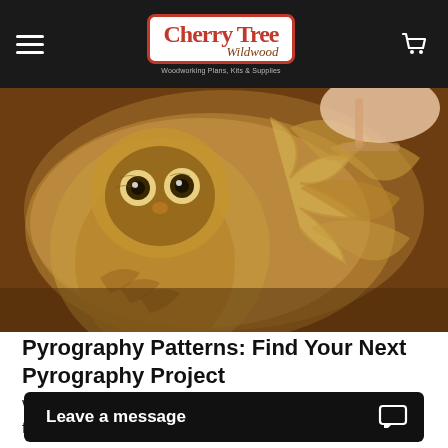Cherry Tree Wildwood — Woodworking Plans, Kits & Supplies
[Figure (photo): Close-up of a wood-burned owl on a circular wooden piece being worked on by a hand holding a pyrography tool. Intricate feather detail on the owl and decorative leaf patterns.]
Pyrography Patterns: Find Your Next Pyrography Project
When it comes to pyrography, there are endless possibilities for patterns and pyrography designs. Th ...
Read More
[Figure (photo): Partial view of a wooden intarsia flower/rose craft piece in warm brown tones.]
Leave a message